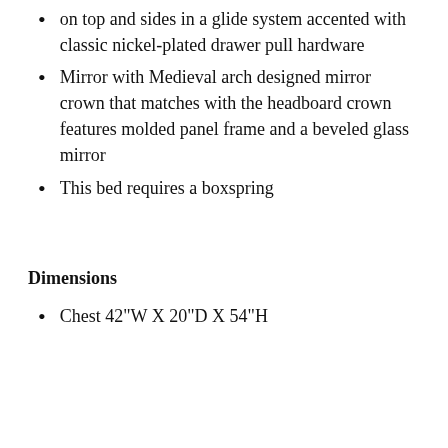on top and sides in a glide system accented with classic nickel-plated drawer pull hardware
Mirror with Medieval arch designed mirror crown that matches with the headboard crown features molded panel frame and a beveled glass mirror
This bed requires a boxspring
Dimensions
Chest 42"W X 20"D X 54"H